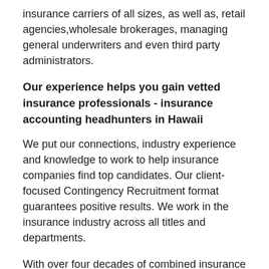insurance carriers of all sizes, as well as, retail agencies,wholesale brokerages, managing general underwriters and even third party administrators.
Our experience helps you gain vetted insurance professionals - insurance accounting headhunters in Hawaii
We put our connections, industry experience and knowledge to work to help insurance companies find top candidates. Our client-focused Contingency Recruitment format guarantees positive results. We work in the insurance industry across all titles and departments.
With over four decades of combined insurance recruiting/staffing experience and nine years of insurance sales, our team can anticipate your